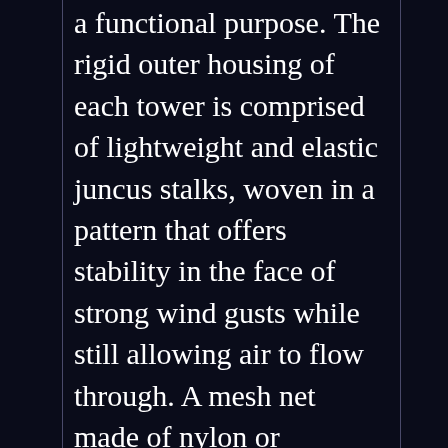a functional purpose. The rigid outer housing of each tower is comprised of lightweight and elastic juncus stalks, woven in a pattern that offers stability in the face of strong wind gusts while still allowing air to flow through. A mesh net made of nylon or polypropylene, which calls to mind a large Chinese lantern, hangs inside